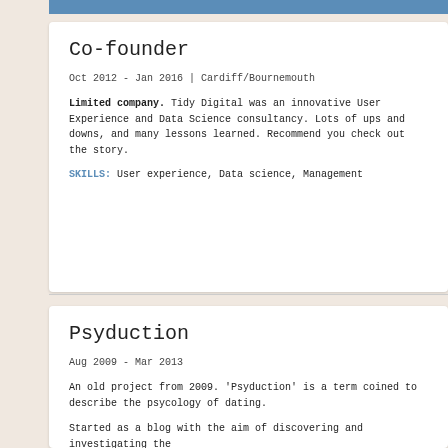Co-founder
Oct 2012 - Jan 2016 | Cardiff/Bournemouth
Limited company. Tidy Digital was an innovative User Experience and Data Science consultancy. Lots of ups and downs, and many lessons learned. Recommend you check out the story.
SKILLS: User experience, Data science, Management
Psyduction
Aug 2009 - Mar 2013
An old project from 2009. 'Psyduction' is a term coined to describe the psycology of dating.
Started as a blog with the aim of discovering and investigating the